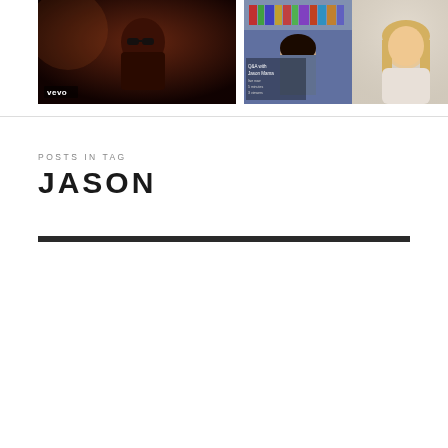[Figure (photo): Left thumbnail image: dark reddish-brown toned photo of a person wearing sunglasses in dim lighting, with a 'vevo' watermark badge in the lower left corner]
[Figure (photo): Right thumbnail image: split image showing a woman with dark hair in a gray top on the left side (appears to be a video call/stream with text overlay) and a woman with blonde hair in a cream sweater on the right side]
POSTS IN TAG
JASON